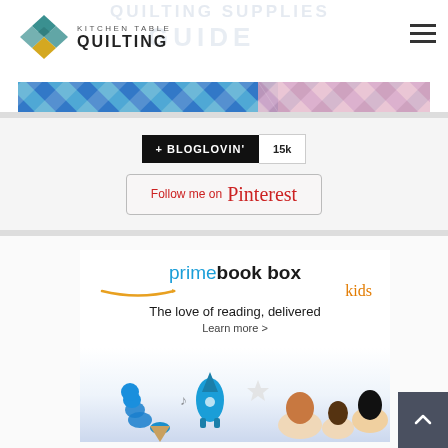[Figure (logo): Kitchen Table Quilting logo with diamond/quilt block icon and text 'KITCHEN TABLE QUILTING']
[Figure (photo): Colorful diagonal quilt pattern banner strip with blue, pink, and purple fabric squares]
[Figure (screenshot): Bloglovin follow button showing '+ BLOGLOVIN' in black and count '15k']
[Figure (screenshot): Pinterest follow button with text 'Follow me on Pinterest']
[Figure (photo): Amazon Prime Book Box kids advertisement showing 'The love of reading, delivered' with children reading illustration]